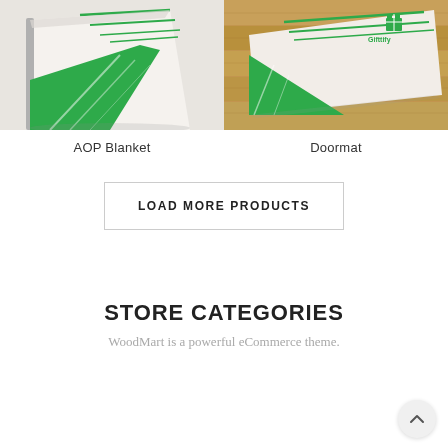[Figure (photo): AOP Blanket product image - white blanket with green diagonal stripe design folded/displayed]
AOP Blanket
[Figure (photo): Doormat product image - white doormat with green diagonal stripe design and Gifttify logo on wooden floor]
Doormat
LOAD MORE PRODUCTS
STORE CATEGORIES
WoodMart is a powerful eCommerce theme.